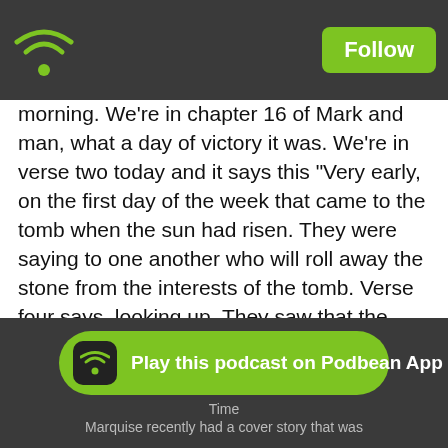Follow
morning. We're in chapter 16 of Mark and man, what a day of victory it was. We're in verse two today and it says this "Very early, on the first day of the week that came to the tomb when the sun had risen. They were saying to one another who will roll away the stone from the interests of the tomb. Verse four says, looking up. They saw that the stone had been rolled away already. Although it was extremely large. Entering the tomb, they saw a young man sitting at the right wearing a white robe and they were amazed and he said to them, 'Do not be amazed. You're looking for Jesus the Nazarene who has been crucified. He's risen. He's not here. Behold, here is the place where they laid him, but go! Tell his disciples and Peter. He's going ahead of you to Galilee. There you will see just as he told you.'"
[Figure (logo): Play this podcast on Podbean App button with green background and wifi podcast icon]
Marquise recently had a cover story that was